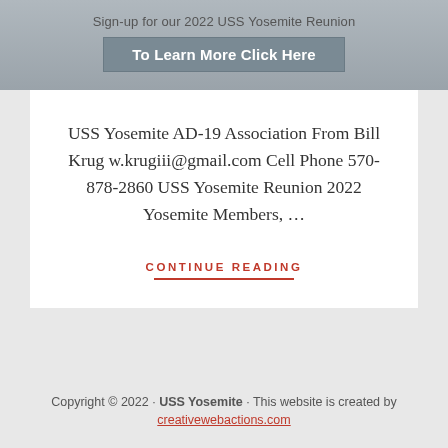Sign-up for our 2022 USS Yosemite Reunion
To Learn More Click Here
USS Yosemite AD-19 Association From Bill Krug w.krugiii@gmail.com Cell Phone 570-878-2860 USS Yosemite Reunion 2022 Yosemite Members, …
CONTINUE READING
Copyright © 2022 · USS Yosemite · This website is created by creativewebactions.com